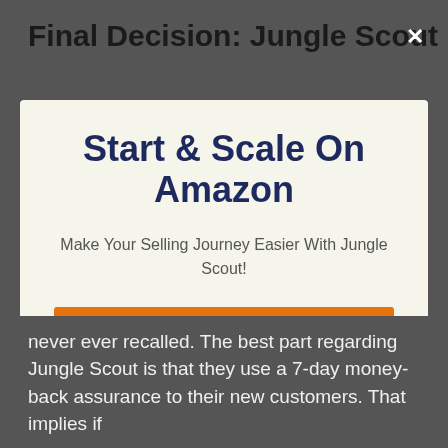Final Decision: Jungle Scout
Start & Scale On Amazon
Make Your Selling Journey Easier With Jungle Scout!
START HERE 👉
No thanks, I'm not interested!
never ever recalled. The best part regarding Jungle Scout is that they use a 7-day money-back assurance to their new customers. That implies if